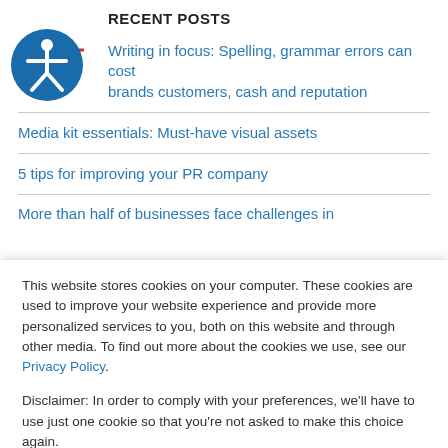RECENT POSTS
[Figure (illustration): Accessibility icon - circle with a human figure inside, blue background]
Writing in focus: Spelling, grammar errors can cost brands customers, cash and reputation
Media kit essentials: Must-have visual assets
5 tips for improving your PR company
More than half of businesses face challenges in
This website stores cookies on your computer. These cookies are used to improve your website experience and provide more personalized services to you, both on this website and through other media. To find out more about the cookies we use, see our Privacy Policy.

Disclaimer: In order to comply with your preferences, we'll have to use just one cookie so that you're not asked to make this choice again.
Cookie Settings | Accept | Decline